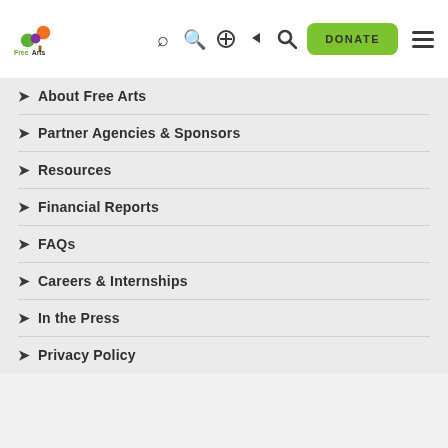[Figure (logo): Free Arts logo with colorful tree (orange, green, purple circles) and text 'Free Arts']
About Free Arts
Partner Agencies & Sponsors
Resources
Financial Reports
FAQs
Careers & Internships
In the Press
Privacy Policy